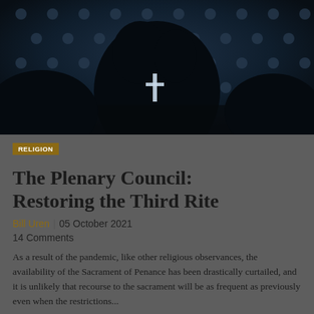[Figure (photo): Dark silhouette photograph of a person (appears to be a priest or religious figure) holding a cross, against a dark patterned background with circular/dot motifs in blue-grey tones]
RELIGION
The Plenary Council: Restoring the Third Rite
Bill Uren | 05 October 2021
14 Comments
As a result of the pandemic, like other religious observances, the availability of the Sacrament of Penance has been drastically curtailed, and it is unlikely that recourse to the sacrament will be as frequent as previously even when the restrictions...